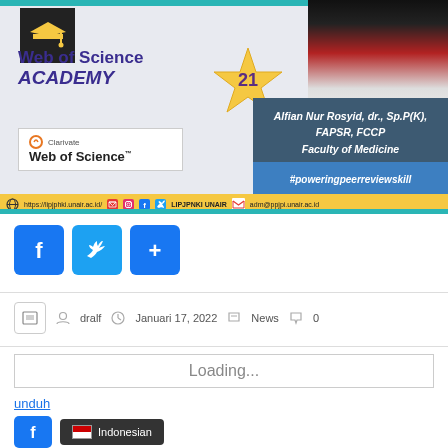[Figure (infographic): Web of Science Academy promotional banner featuring episode 21, Alfian Nur Rosyid credentials, hashtag #poweringpeerreviewskill, Clarivate Web of Science logo, and social media/contact footer bar]
[Figure (infographic): Social media share buttons: Facebook (blue f), Twitter (blue bird), Share (blue +)]
dralf   Januari 17, 2022   News   0
Loading...
unduh
Indonesian